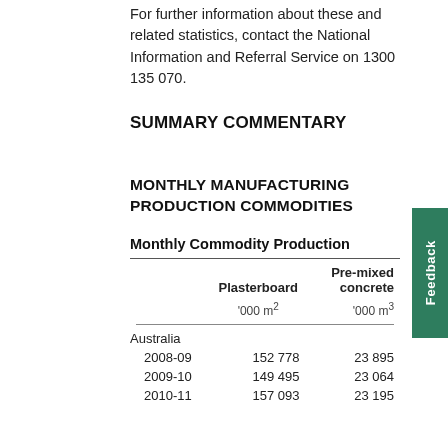For further information about these and related statistics, contact the National Information and Referral Service on 1300 135 070.
SUMMARY COMMENTARY
MONTHLY MANUFACTURING PRODUCTION COMMODITIES
Monthly Commodity Production
|  | Plasterboard | Pre-mixed concrete |
| --- | --- | --- |
|  | '000 m² | '000 m³ |
| Australia |  |  |
| 2008-09 | 152 778 | 23 895 |
| 2009-10 | 149 495 | 23 064 |
| 2010-11 | 157 093 | 23 195 |